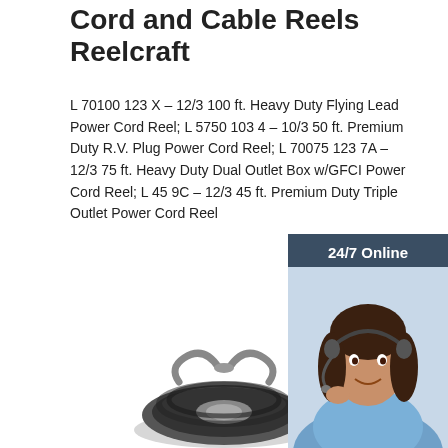Cord and Cable Reels Reelcraft
L 70100 123 X – 12/3 100 ft. Heavy Duty Flying Lead Power Cord Reel; L 5750 103 4 – 10/3 50 ft. Premium Duty R.V. Plug Power Cord Reel; L 70075 123 7A – 12/3 75 ft. Heavy Duty Dual Outlet Box w/GFCI Power Cord Reel; L 45 9C – 12/3 45 ft. Premium Duty Triple Outlet Power Cord Reel
[Figure (infographic): Customer service representative woman with headset. Sidebar widget with '24/7 Online' header, photo, 'Click here for free chat!' text, and orange QUOTATION button.]
[Figure (photo): Cord/cable reel product photo at bottom of page.]